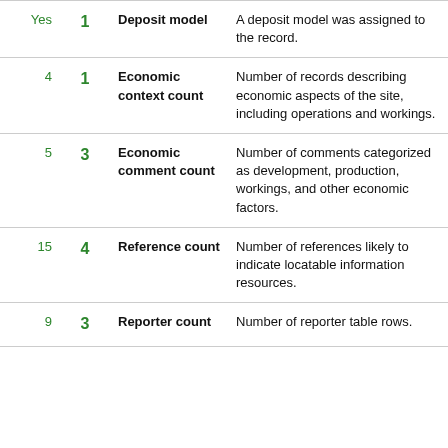| Yes | 1 | Deposit model | A deposit model was assigned to the record. |
| 4 | 1 | Economic context count | Number of records describing economic aspects of the site, including operations and workings. |
| 5 | 3 | Economic comment count | Number of comments categorized as development, production, workings, and other economic factors. |
| 15 | 4 | Reference count | Number of references likely to indicate locatable information resources. |
| 9 | 3 | Reporter count | Number of reporter table rows. |